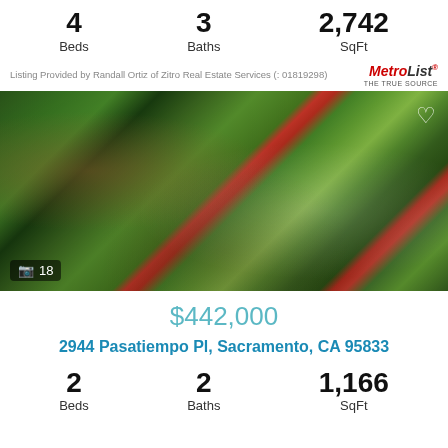4 Beds  3 Baths  2,742 SqFt
Listing Provided by Randall Ortiz of Zitro Real Estate Services (: 01819298)
[Figure (photo): Exterior photo of a residential property with lush tropical greenery, palm trees, red flowering plants, and a white structure visible behind the plants. Image counter shows 18 photos.]
$442,000
2944 Pasatiempo Pl, Sacramento, CA 95833
2 Beds  2 Baths  1,166 SqFt